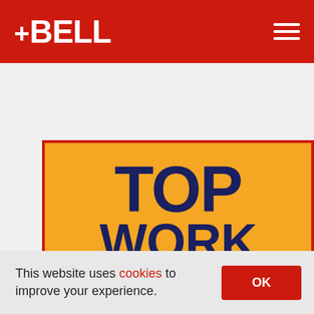BELL
[Figure (logo): Top Workplaces award badge with large bold text reading TOP WORK PLACES on a yellow/gold background with dark navy color text and a double underline]
This website uses cookies to improve your experience.